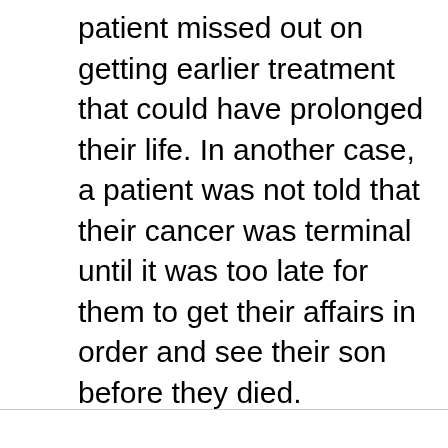patient missed out on getting earlier treatment that could have prolonged their life. In another case, a patient was not told that their cancer was terminal until it was too late for them to get their affairs in order and see their son before they died.